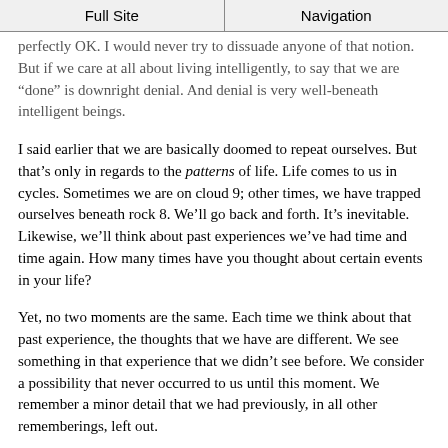Full Site | Navigation
perfectly OK. I would never try to dissuade anyone of that notion. But if we care at all about living intelligently, to say that we are “done” is downright denial. And denial is very well-beneath intelligent beings.
I said earlier that we are basically doomed to repeat ourselves. But that’s only in regards to the patterns of life. Life comes to us in cycles. Sometimes we are on cloud 9; other times, we have trapped ourselves beneath rock 8. We’ll go back and forth. It’s inevitable. Likewise, we’ll think about past experiences we’ve had time and time again. How many times have you thought about certain events in your life?
Yet, no two moments are the same. Each time we think about that past experience, the thoughts that we have are different. We see something in that experience that we didn’t see before. We consider a possibility that never occurred to us until this moment. We remember a minor detail that we had previously, in all other rememberings, left out.
Principles stay the same. The spiritual nature of our being stays the same.